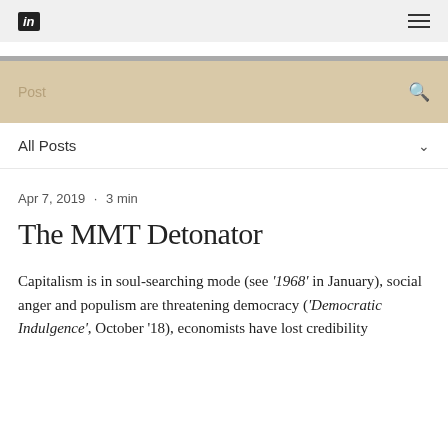in ☰
[Figure (screenshot): Search/Post bar with beige background, placeholder text 'Post' and search icon]
All Posts ∨
Apr 7, 2019 · 3 min
The MMT Detonator
Capitalism is in soul-searching mode (see '1968' in January), social anger and populism are threatening democracy ('Democratic Indulgence', October '18), economists have lost credibility